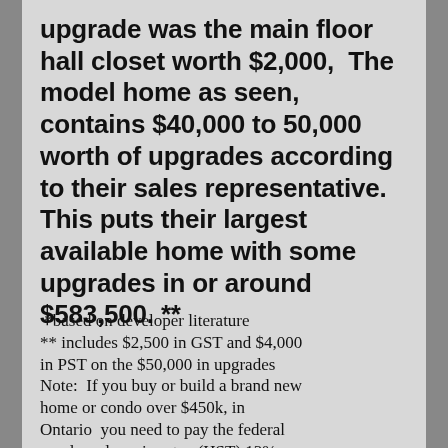upgrade was the main floor hall closet worth $2,000,  The model home as seen, contains $40,000 to 50,000 worth of upgrades according to their sales representative. This puts their largest available home with some upgrades in or around  $583,500. **
*based on developer literature ** includes $2,500 in GST and $4,000 in PST on the $50,000 in upgrades Note:  If you buy or build a brand new home or condo over $450k, in Ontario  you need to pay the federal goods and services tax (HST) 13%, less rebate, on the purchase price.  The HST is calculated  into the base list price but must be added to all